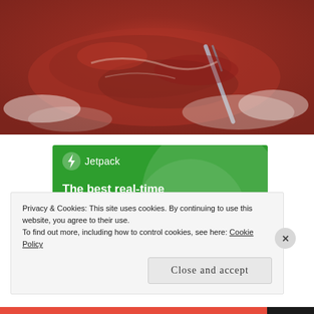[Figure (photo): Close-up food photo showing what appears to be meat or a meat dish on a plate, with red/brown colors, a fork visible, on a white plate background. Crops off at bottom.]
[Figure (infographic): Jetpack WordPress plugin advertisement on a green background. Shows the Jetpack logo (lightning bolt icon) and brand name at top, a large lighter green circle/arc decoration, tagline text 'The best real-time WordPress backup plugin', and a white button with text 'Back up your site'.]
Privacy & Cookies: This site uses cookies. By continuing to use this website, you agree to their use.
To find out more, including how to control cookies, see here: Cookie Policy
Close and accept